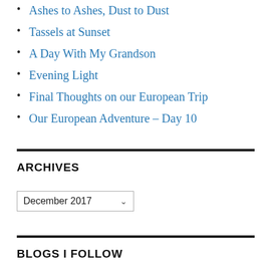Ashes to Ashes, Dust to Dust
Tassels at Sunset
A Day With My Grandson
Evening Light
Final Thoughts on our European Trip
Our European Adventure – Day 10
ARCHIVES
December 2017
BLOGS I FOLLOW